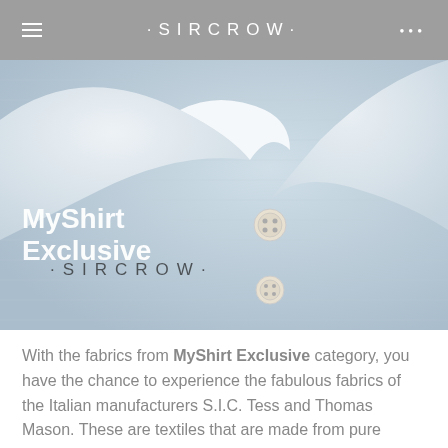· S I R C R O W ·
[Figure (photo): Close-up photo of a light blue dress shirt collar with a button, overlaid with the text 'MyShirt Exclusive' in white and the ·SIRCROW· logo in dark text]
With the fabrics from MyShirt Exclusive category, you have the chance to experience the fabulous fabrics of the Italian manufacturers S.I.C. Tess and Thomas Mason. These are textiles that are made from pure Egyptian